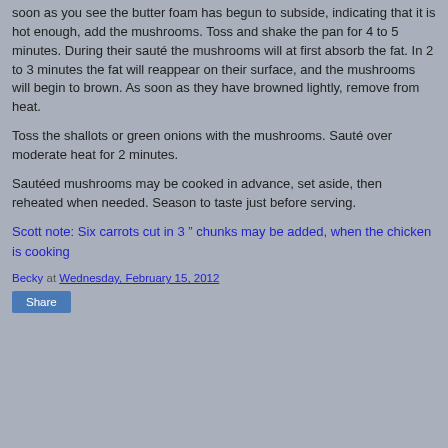soon as you see the butter foam has begun to subside, indicating that it is hot enough, add the mushrooms. Toss and shake the pan for 4 to 5 minutes. During their sauté the mushrooms will at first absorb the fat. In 2 to 3 minutes the fat will reappear on their surface, and the mushrooms will begin to brown. As soon as they have browned lightly, remove from heat.
Toss the shallots or green onions with the mushrooms. Sauté over moderate heat for 2 minutes.
Sautéed mushrooms may be cooked in advance, set aside, then reheated when needed. Season to taste just before serving.
Scott note: Six carrots cut in 3 " chunks may be added, when the chicken is cooking
Becky at Wednesday, February 15, 2012
Share